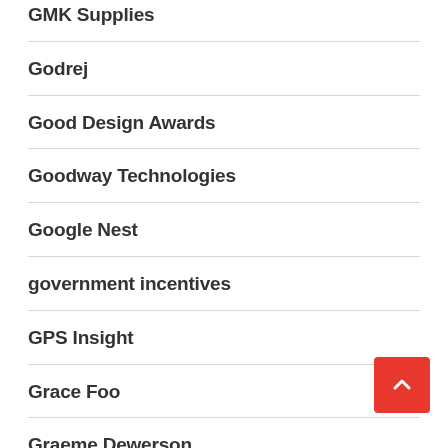GMK Supplies
Godrej
Good Design Awards
Goodway Technologies
Google Nest
government incentives
GPS Insight
Grace Foo
Graeme Dewerson